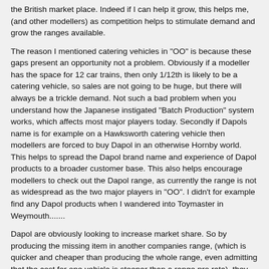the British market place. Indeed if I can help it grow, this helps me, (and other modellers) as competition helps to stimulate demand and grow the ranges available.
The reason I mentioned catering vehicles in "OO" is because these gaps present an opportunity not a problem. Obviously if a modeller has the space for 12 car trains, then only 1/12th is likely to be a catering vehicle, so sales are not going to be huge, but there will always be a trickle demand. Not such a bad problem when you understand how the Japanese instigated "Batch Production" system works, which affects most major players today. Secondly if Dapols name is for example on a Hawksworth catering vehicle then modellers are forced to buy Dapol in an otherwise Hornby world. This helps to spread the Dapol brand name and experience of Dapol products to a broader customer base. This also helps encourage modellers to check out the Dapol range, as currently the range is not as widespread as the two major players in "OO". I didn't for example find any Dapol products when I wandered into Toymaster in Weymouth.......
Dapol are obviously looking to increase market share. So by producing the missing item in another companies range, (which is quicker and cheaper than producing the whole range, even admitting that the cost for one vehicle is steeper than a range pro rata), they get a foot in the door. So too complete your model train you have to entertain Dapol.
With regard to your comments about the backlog of work at Dapol. Firstly N and O gauges are smaller markets. The return on an OO item is more likely to help fund excursions into these other scales, rather than impede it. If as you suggest in your list of backlog items this problem is now a chicane to production, then I would say Dapol have a staff shortage, or they are spending too much time on the wrong scales. The research time and investment is understood, and in my opinion is currently too long. An indication of the problem of getting at the necessary original raw data, and